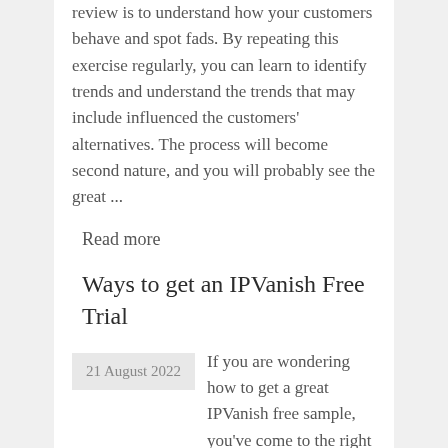review is to understand how your customers behave and spot fads. By repeating this exercise regularly, you can learn to identify trends and understand the trends that may include influenced the customers' alternatives. The process will become second nature, and you will probably see the great ...
Read more
Ways to get an IPVanish Free Trial
21 August 2022
If you are wondering how to get a great IPVanish free sample, you've come to the right place. You can test out this